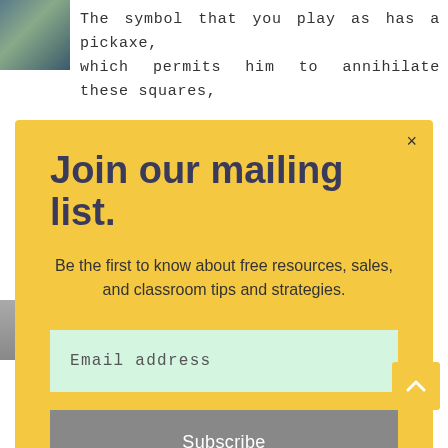[Figure (photo): Small thumbnail image in top-left corner of background page]
The symbol that you play as has a pickaxe, which permits him to annihilate these squares,
Join our mailing list.
Be the first to know about free resources, sales, and classroom tips and strategies.
Email address
Subscribe
turn of events, you can in any case a duplicate for $25, in any case, in the event you don't have $25 to save, you can really get